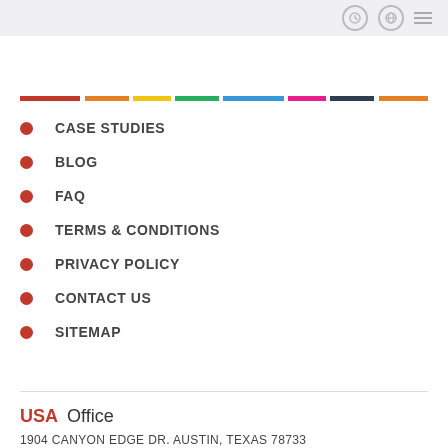[Navigation icons: clock, globe, menu]
CASE STUDIES
BLOG
FAQ
TERMS & CONDITIONS
PRIVACY POLICY
CONTACT US
SITEMAP
USA Office
1904 CANYON EDGE DR. AUSTIN, TEXAS 78733
Mob: +1 512-271-4829